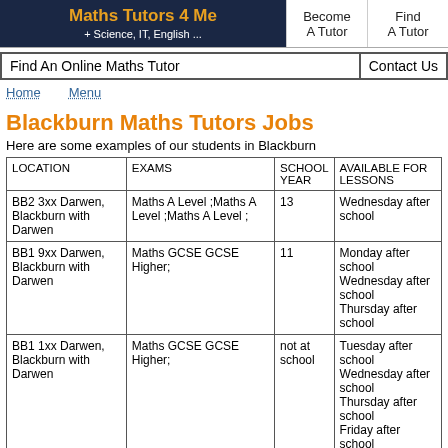Maths Tutors 4 Me + Science, IT, English ... | Become A Tutor | Find A Tutor
Find An Online Maths Tutor | Contact Us
Home   Menu
Blackburn Maths Tutors Jobs
Here are some examples of our students in Blackburn
| LOCATION | EXAMS | SCHOOL YEAR | AVAILABLE FOR LESSONS |
| --- | --- | --- | --- |
| BB2 3xx Darwen, Blackburn with Darwen | Maths A Level ;Maths A Level ;Maths A Level ; | 13 | Wednesday after school |
| BB1 9xx Darwen, Blackburn with Darwen | Maths GCSE GCSE Higher; | 11 | Monday after school
Wednesday after school
Thursday after school |
| BB1 1xx Darwen, Blackburn with Darwen | Maths GCSE GCSE Higher; | not at school | Tuesday after school
Wednesday after school
Thursday after school
Friday after school
At weekends |
| BB2 7xx Darwen, Blackburn with Darwen | Maths KS3 Key Stage 3; |  | Wednesday after school
Friday after school |